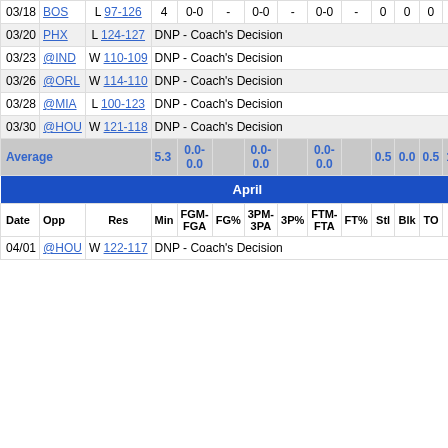| Date | Opp | Res | Min | FGM-FGA | FG% | 3PM-3PA | 3P% | FTM-FTA | FT% | Stl | Blk | TO | PF | Reb |
| --- | --- | --- | --- | --- | --- | --- | --- | --- | --- | --- | --- | --- | --- | --- |
| 03/18 | BOS | L 97-126 | 4 | 0-0 | - | 0-0 | - | 0-0 | - | 0 | 0 | 0 | 1 | 0 |
| 03/20 | PHX | L 124-127 | DNP - Coach's Decision |  |  |  |  |  |  |  |  |  |  |  |
| 03/23 | @IND | W 110-109 | DNP - Coach's Decision |  |  |  |  |  |  |  |  |  |  |  |
| 03/26 | @ORL | W 114-110 | DNP - Coach's Decision |  |  |  |  |  |  |  |  |  |  |  |
| 03/28 | @MIA | L 100-123 | DNP - Coach's Decision |  |  |  |  |  |  |  |  |  |  |  |
| 03/30 | @HOU | W 121-118 | DNP - Coach's Decision |  |  |  |  |  |  |  |  |  |  |  |
| Average |  |  | 5.3 | 0.0-0.0 |  | 0.0-0.0 |  | 0.0-0.0 |  | 0.5 | 0.0 | 0.5 | 1.3 | 1.0 |
| April |  |  |  |  |  |  |  |  |  |  |  |  |  |  |
| Date | Opp | Res | Min | FGM-FGA | FG% | 3PM-3PA | 3P% | FTM-FTA | FT% | Stl | Blk | TO | PF | Reb |
| 04/01 | @HOU | W 122-117 | DNP - Coach's Decision |  |  |  |  |  |  |  |  |  |  |  |